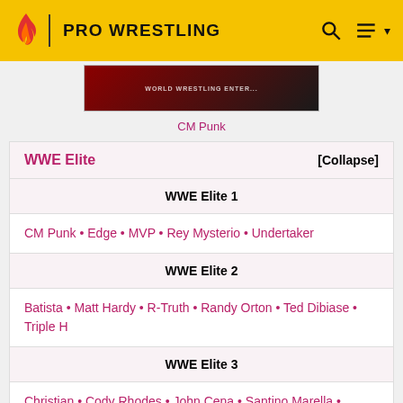PRO WRESTLING
[Figure (photo): Partial image showing a WWE action figure box with World Wrestling Entertainment branding]
CM Punk
| WWE Elite | [Collapse] |
| --- | --- |
| WWE Elite 1 |  |
| CM Punk • Edge • MVP • Rey Mysterio • Undertaker |  |
| WWE Elite 2 |  |
| Batista • Matt Hardy • R-Truth • Randy Orton • Ted Dibiase • Triple H |  |
| WWE Elite 3 |  |
| Christian • Cody Rhodes • John Cena • Santino Marella • Shawn Michaels • The Miz |  |